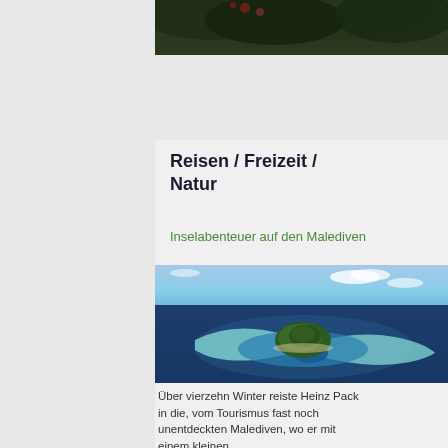[Figure (photo): Top portion of a nature/plant photo with dark green foliage, partially visible at top of page]
Reisen / Freizeit / Natur
Inselabenteuer auf den Malediven
[Figure (photo): Aerial photograph of a heart-shaped tropical island in the Maldives, surrounded by turquoise shallow reef waters and deep blue ocean]
Über vierzehn Winter reiste Heinz Pack in die, vom Tourismus fast noch unentdeckten Malediven, wo er mit einem kleinen